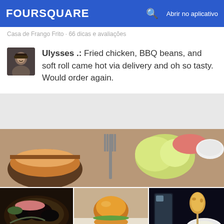FOURSQUARE  Abrir no aplicativo
Casa de Frango Frito · 66 dicas e avaliações
Ulysses .: Fried chicken, BBQ beans, and soft roll came hot via delivery and oh so tasty. Would order again.
[Figure (photo): Food photos collage: top row shows a burger with fork and pickled vegetables and a bowl; bottom row shows three smaller food photos including a dark rice dish, a burger slider, and a corn dog with dipping sauce]
22. Lunchbox Laboratory
7.7